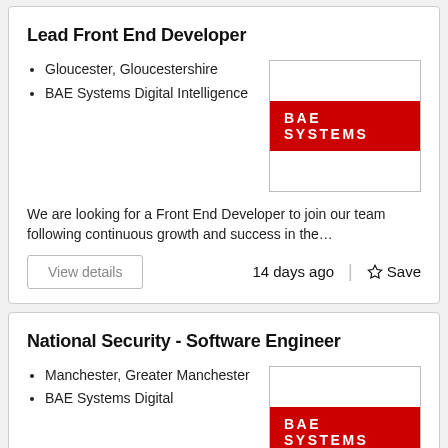Lead Front End Developer
Gloucester, Gloucestershire
BAE Systems Digital Intelligence
[Figure (logo): BAE SYSTEMS logo — white text on red background]
We are looking for a Front End Developer to join our team following continuous growth and success in the…
View details
14 days ago
Save
National Security - Software Engineer
Manchester, Greater Manchester
BAE Systems Digital Intelligence
[Figure (logo): BAE SYSTEMS logo — white text on red background]